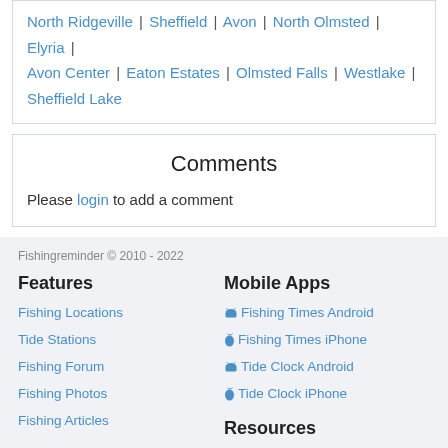North Ridgeville | Sheffield | Avon | North Olmsted | Elyria | Avon Center | Eaton Estates | Olmsted Falls | Westlake | Sheffield Lake
Comments
Please login to add a comment
Fishingreminder © 2010 - 2022
Features
Fishing Locations
Tide Stations
Fishing Forum
Fishing Photos
Fishing Articles
Mobile Apps
Fishing Times Android
Fishing Times iPhone
Tide Clock Android
Tide Clock iPhone
Social Media
Facebook
Resources
Fishing Times explained